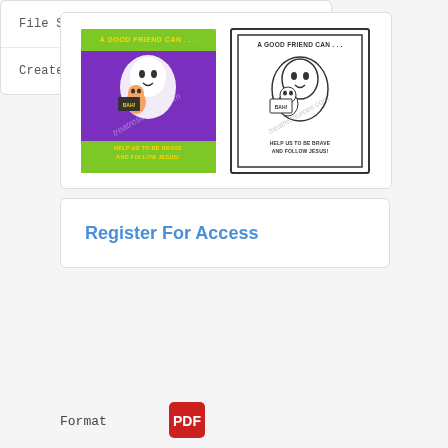[Figure (illustration): Two religious-themed cartoon posters side by side. Left poster has green and purple background with cartoon characters and text 'A GOOD FRIEND CAN...' at top and 'HELP US TO BE BRAVE AND FOLLOW JESUS!' at bottom. Right poster is black and white coloring page version of similar design.]
Register For Access
| File Size | 225 KB |
| Create Date | October 23, 2018 |
Format
[Figure (logo): PDF file format icon - red Adobe PDF logo]